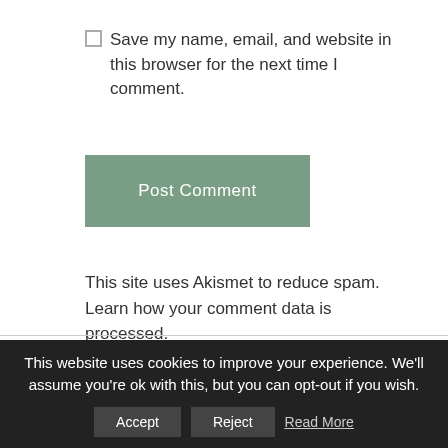Save my name, email, and website in this browser for the next time I comment.
Post Comment
This site uses Akismet to reduce spam. Learn how your comment data is processed.
This website uses cookies to improve your experience. We'll assume you're ok with this, but you can opt-out if you wish.
Accept
Reject
Read More